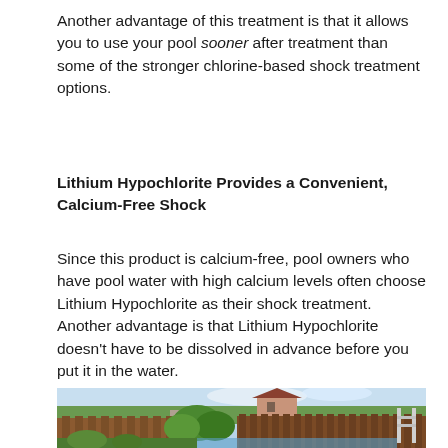Another advantage of this treatment is that it allows you to use your pool sooner after treatment than some of the stronger chlorine-based shock treatment options.
Lithium Hypochlorite Provides a Convenient, Calcium-Free Shock
Since this product is calcium-free, pool owners who have pool water with high calcium levels often choose Lithium Hypochlorite as their shock treatment. Another advantage is that Lithium Hypochlorite doesn't have to be dissolved in advance before you put it in the water.
[Figure (photo): Outdoor backyard scene with a wooden fence, lush green trees and bushes, a house in the background, and what appears to be a pool ladder visible on the right side. Sunny day with blue sky.]